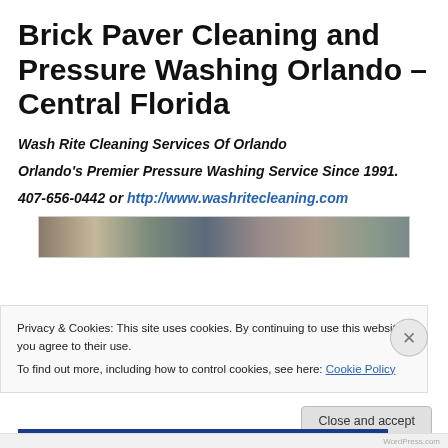Brick Paver Cleaning and Pressure Washing Orlando – Central Florida
Wash Rite Cleaning Services Of Orlando
Orlando's Premier Pressure Washing Service Since 1991.
407-656-0442 or http://www.washritecleaning.com
[Figure (photo): Horizontal strip of before/after brick paver cleaning photos]
Privacy & Cookies: This site uses cookies. By continuing to use this website, you agree to their use. To find out more, including how to control cookies, see here: Cookie Policy
Close and accept